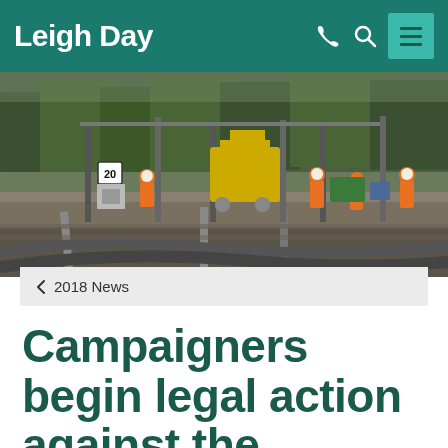Leigh Day
[Figure (photo): Railway track workers in orange high-visibility gear working on a rail line with a yellow excavator/digger in the background and trees behind. Multiple workers visible, with rail infrastructure and signal equipment.]
< 2018 News
Campaigners begin legal action against the Transport